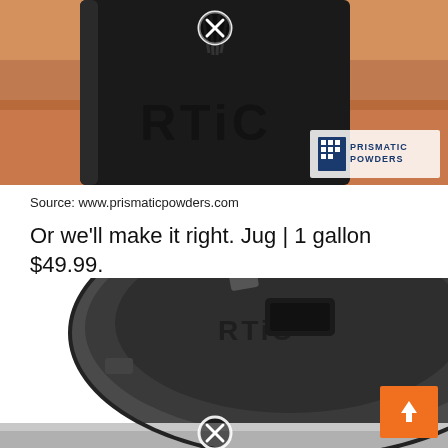[Figure (photo): Photo of a black RTIC tumbler/bottle with powder coat finish outdoors on reddish dirt ground. Prismatic Powders logo visible in lower right corner. Has a circular X/close icon overlay at top.]
Source: www.prismaticpowders.com
Or we'll make it right. Jug | 1 gallon $49.99.
[Figure (photo): Close-up photo of an RTIC jug lid from above, dark gray/charcoal colored with RTIC logo and locking mechanism. Has a circular X/close icon overlay at bottom center.]